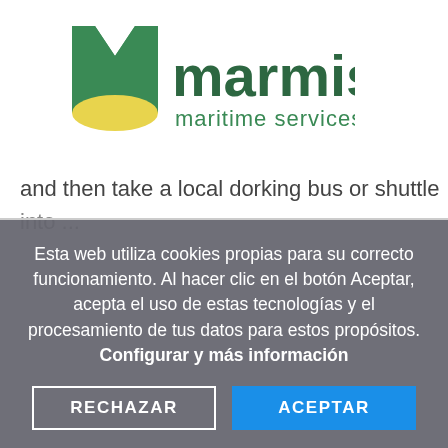[Figure (logo): Marmisur maritime services logo with green M shape and yellow wave graphic]
and then take a local dorking bus or shuttle into...
Esta web utiliza cookies propias para su correcto funcionamiento. Al hacer clic en el botón Aceptar, acepta el uso de estas tecnologías y el procesamiento de tus datos para estos propósitos. Configurar y más información
RECHAZAR
ACEPTAR